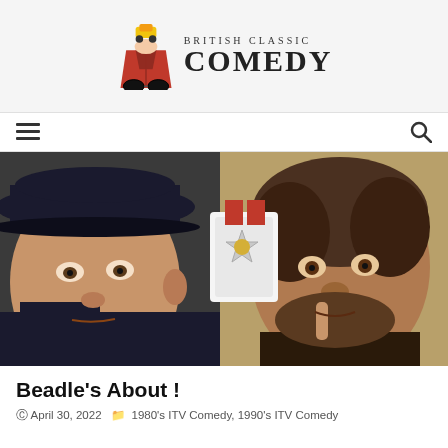British Classic Comedy
[Figure (logo): British Classic Comedy logo with cartoon character icon and stylized text]
[Figure (photo): Two men, one in a police uniform with a cap, another man holding a medal with a red ribbon up and placing a finger over his lips]
Beadle's About !
April 30, 2022  1980's ITV Comedy, 1990's ITV Comedy